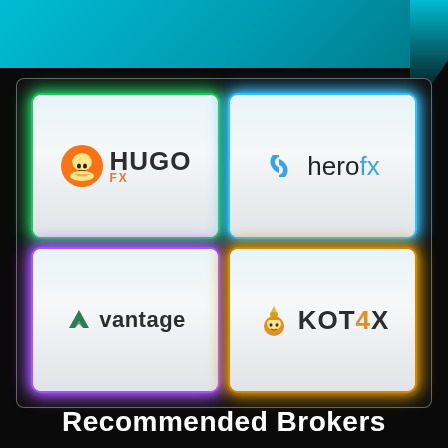[Figure (infographic): Four recommended forex brokers displayed in a 2x2 grid with glowing colored borders: HugoFX (green glow), HeroFX (blue glow), Vantage (purple glow), KOT4X (gold glow). Each broker shown as a logo card on light background.]
Recommended Brokers